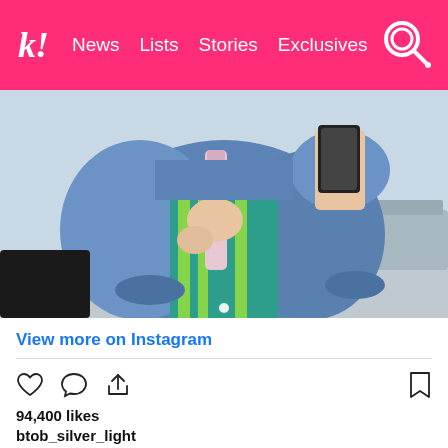k! News Lists Stories Exclusives
[Figure (photo): Mirror selfie of a person wearing a blue denim jacket over a green and yellow striped shirt, holding a pink/white bag strap, taking a photo with a phone]
View more on Instagram
94,400 likes
btob_silver_light
□□□□□□□□□ □□□
□□□ □□□ □□□ □□□ □
view all 1,636 comments